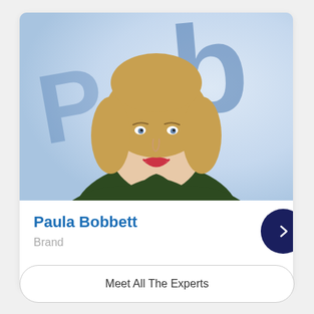[Figure (photo): Professional headshot of a smiling woman with short blonde hair, wearing a dark green top, photographed against a blurred blue and white background with partial lettering visible]
Paula Bobbett
Brand
Meet All The Experts